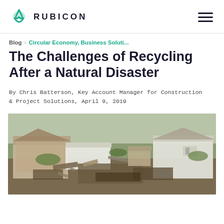RUBICON
Blog › Circular Economy, Business Soluti...
The Challenges of Recycling After a Natural Disaster
By Chris Batterson, Key Account Manager for Construction & Project Solutions, April 9, 2019
[Figure (photo): Aerial view of destroyed homes and debris after a natural disaster, showing demolished structures, rubble, and damaged roofs across a residential area with some green vegetation visible]